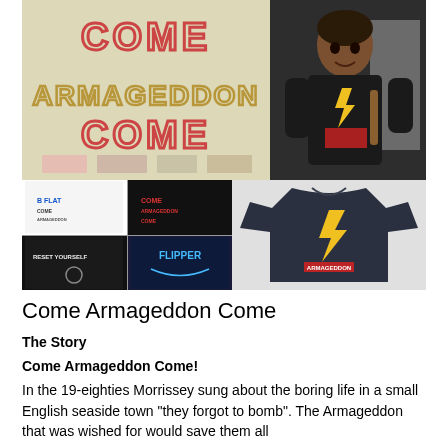[Figure (photo): Top-left: hand-drawn lettering on paper reading 'Come Armageddon Come' in colored marker/pencil. Top-right: person wearing a dark t-shirt with lightning bolt graphic. Bottom-left: grid of four t-shirt design thumbnails showing various designs. Bottom-right: dark navy t-shirt with yellow lightning bolt and red text graphic.]
Come Armageddon Come
The Story
Come Armageddon Come!
In the 19-eighties Morrissey sung about the boring life in a small English seaside town "they forgot to bomb". The Armageddon that was wished for would save them all